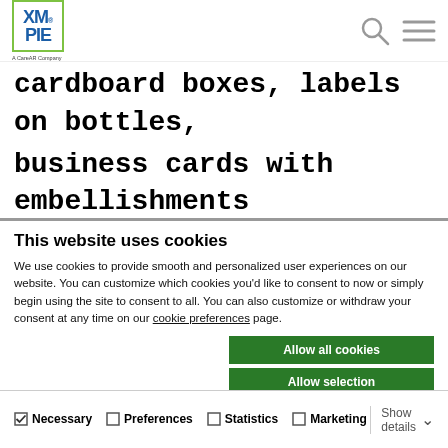XM PIE - A CareAR Company
cardboard boxes, labels on bottles, business cards with embellishments and many more. Display dynamic
This website uses cookies
We use cookies to provide smooth and personalized user experiences on our website. You can customize which cookies you'd like to consent to now or simply begin using the site to consent to all. You can also customize or withdraw your consent at any time on our cookie preferences page.
Allow all cookies | Allow selection | Use necessary cookies only
Necessary | Preferences | Statistics | Marketing | Show details